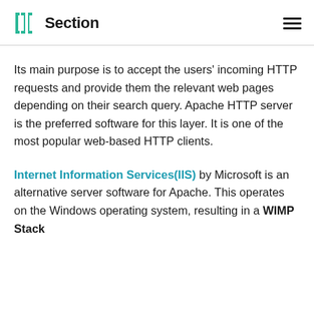Section
Its main purpose is to accept the users' incoming HTTP requests and provide them the relevant web pages depending on their search query. Apache HTTP server is the preferred software for this layer. It is one of the most popular web-based HTTP clients.
Internet Information Services(IIS) by Microsoft is an alternative server software for Apache. This operates on the Windows operating system, resulting in a WIMP Stack